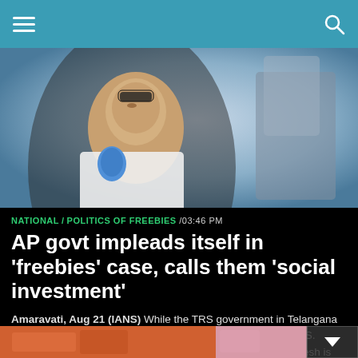Navigation header with menu and search
[Figure (photo): A man holding a blue microphone, wearing sunglasses, with arm raised in background]
NATIONAL / POLITICS OF FREEBIES /03:46 PM
AP govt impleads itself in 'freebies' case, calls them 'social investment'
Amaravati, Aug 21 (IANS) While the TRS government in Telangana is taking on BJP politically over the current row on freebies, Y.S. Jagan Mohan Reddy-led YSRCP government in Andhra Pradesh is keen to wage a legal battle.
[Figure (photo): Bottom strip showing orange and pink colored images, partially visible]